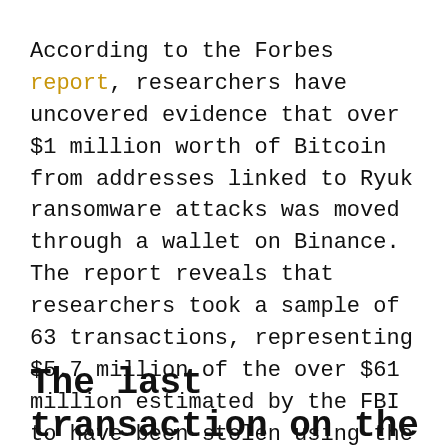According to the Forbes report, researchers have uncovered evidence that over $1 million worth of Bitcoin from addresses linked to Ryuk ransomware attacks was moved through a wallet on Binance. The report reveals that researchers took a sample of 63 transactions, representing $5.7 million of the over $61 million estimated by the FBI to have been stolen using the Ryuk ransomware. Of the $5.7 million, $1,064,865 worth of Bitcoin from multiple wallet addresses was bounced through numerous non-connected wallets before eventually finding its way to Binance, where it was cashed out.
The last transaction on the